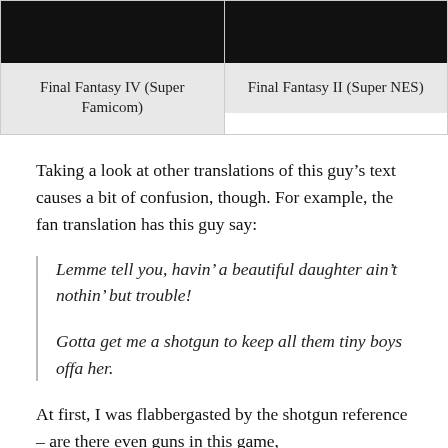| Final Fantasy IV (Super Famicom) | Final Fantasy II (Super NES) |
| --- | --- |
Taking a look at other translations of this guy's text causes a bit of confusion, though. For example, the fan translation has this guy say:
Lemme tell you, havin' a beautiful daughter ain't nothin' but trouble!

Gotta get me a shotgun to keep all them tiny boys offa her.
At first, I was flabbergasted by the shotgun reference – are there even guns in this game,